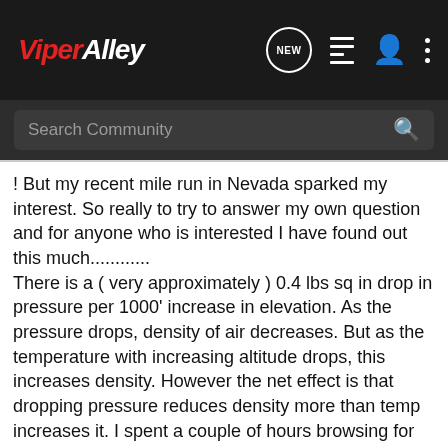ViperAlley
Search Community
! But my recent mile run in Nevada sparked my interest. So really to try to answer my own question and for anyone who is interested I have found out this much............
There is a ( very approximately ) 0.4 lbs sq in drop in pressure per 1000' increase in elevation. As the pressure drops, density of air decreases. But as the temperature with increasing altitude drops, this increases density. However the net effect is that dropping pressure reduces density more than temp increases it. I spent a couple of hours browsing for actual figures but just couldn't find anything.
The most relevant information was found in the world of cycling, The max distance covered in the hour is around 56km. In Mexico City which is around 7500ft elevation, the increase in speed was seen to be about 1.7kph, or about 3%. Given that the cyclist's output after extended training at higher altitude